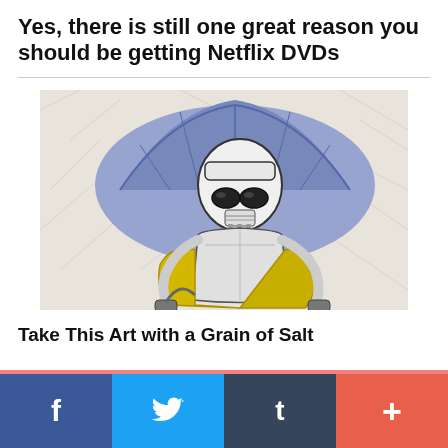Yes, there is still one great reason you should be getting Netflix DVDs
[Figure (illustration): Cartoon illustration of a Star Wars Stormtrooper character holding a yellow bag and a large blue umbrella in the rain, drawn in a stylized art style.]
Take This Art with a Grain of Salt
f  [Twitter bird]  t  +